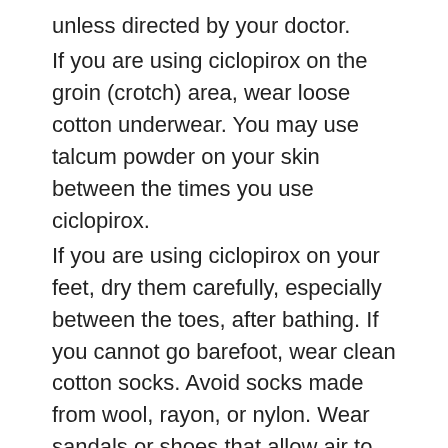unless directed by your doctor. If you are using ciclopirox on the groin (crotch) area, wear loose cotton underwear. You may use talcum powder on your skin between the times you use ciclopirox. If you are using ciclopirox on your feet, dry them carefully, especially between the toes, after bathing. If you cannot go barefoot, wear clean cotton socks. Avoid socks made from wool, rayon, or nylon. Wear sandals or shoes that allow air to get to your feet. Use talcum powder between your toes and sprinkle some in your socks and shoes once or twice daily. The nail lacquer is flammable. Do not use it near heat or an open flame. You may need to use the nail lacquer for up to 6 months before seeing any improvement in your